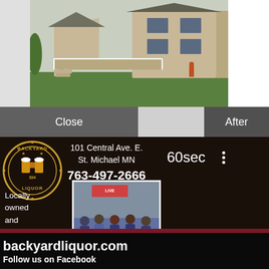[Figure (photo): Exterior photo of a house with a deck and green lawn, shown in a before/after comparison UI]
Close
After
[Figure (photo): Backyard Liquor advertisement showing logo, address (101 Central Ave. E., St. Michael MN), phone (763-497-2666), group photo of staff, locally owned and operated text, open hours, and website]
60sec
101 Central Ave. E.
St. Michael MN
763-497-2666
Locally owned and operated
Open:
Mon.–Sat. 10am –10pm
Sunday 11am – 6pm
backyardliquor.com
Follow us on Facebook